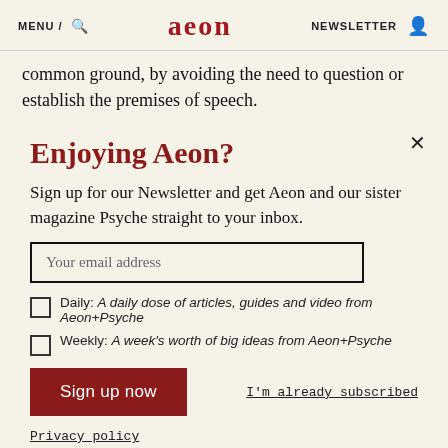MENU / [search icon] aeon NEWSLETTER [user icon]
common ground, by avoiding the need to question or establish the premises of speech.
Enjoying Aeon?
Sign up for our Newsletter and get Aeon and our sister magazine Psyche straight to your inbox.
Your email address
Daily: A daily dose of articles, guides and video from Aeon+Psyche
Weekly: A week's worth of big ideas from Aeon+Psyche
Sign up now
I'm already subscribed
Privacy policy